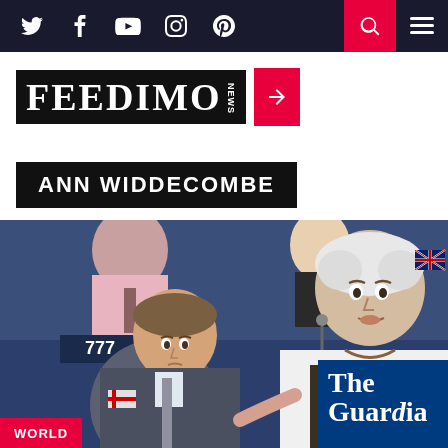Navigation bar with Twitter, Facebook, YouTube, Instagram, Pinterest icons, search and menu
[Figure (logo): FEEDIMO news logo with red arrow]
ANN WIDDECOMBE
[Figure (photo): Photo of Ann Widdecombe speaking at the European Parliament, with Nigel Farage seated nearby. A WORLD tag and The Guardian logo overlay visible at the bottom.]